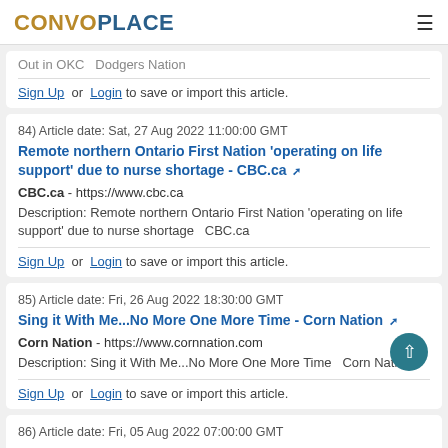CONVOPLACE
Out in OKC  Dodgers Nation
Sign Up or Login to save or import this article.
84) Article date: Sat, 27 Aug 2022 11:00:00 GMT
Remote northern Ontario First Nation 'operating on life support' due to nurse shortage - CBC.ca
CBC.ca - https://www.cbc.ca
Description: Remote northern Ontario First Nation 'operating on life support' due to nurse shortage  CBC.ca
Sign Up or Login to save or import this article.
85) Article date: Fri, 26 Aug 2022 18:30:00 GMT
Sing it With Me...No More One More Time - Corn Nation
Corn Nation - https://www.cornnation.com
Description: Sing it With Me...No More One More Time  Corn Nation
Sign Up or Login to save or import this article.
86) Article date: Fri, 05 Aug 2022 07:00:00 GMT